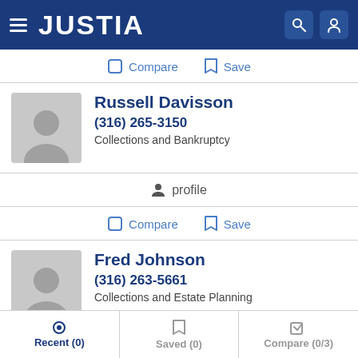JUSTIA
Compare  Save
Russell Davisson
(316) 265-3150
Collections and Bankruptcy
profile
Compare  Save
Fred Johnson
(316) 263-5661
Collections and Estate Planning
Recent (0)  Saved (0)  Compare (0/3)